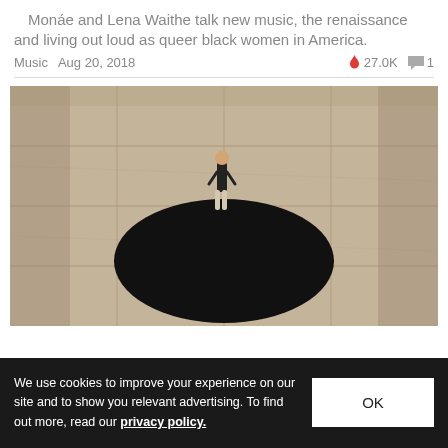Monáe and Lena Waithe talk new music, the renaissance and living out loud as queer black women in America.
Music  Aug 20, 2018  🔥 27.0K  💬 1
[Figure (photo): Aerial view of a person standing near a large black circular void/hole on a stone/marble floor surface]
We use cookies to improve your experience on our site and to show you relevant advertising. To find out more, read our privacy policy.